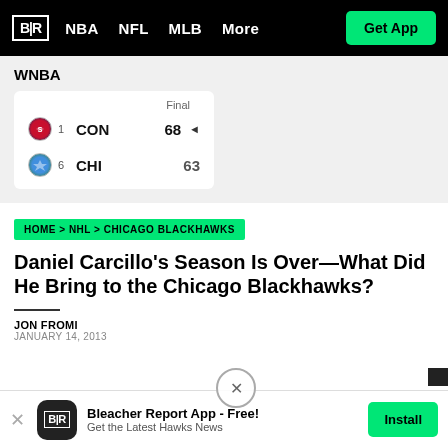B|R  NBA  NFL  MLB  More  Get App
WNBA
|  | Seed | Team | Score |  |
| --- | --- | --- | --- | --- |
| [CON icon] | 1 | CON | 68 | ◄ |
| [CHI icon] | 6 | CHI | 63 |  |
HOME > NHL > CHICAGO BLACKHAWKS
Daniel Carcillo's Season Is Over—What Did He Bring to the Chicago Blackhawks?
JON FROMI
JANUARY 14, 2013
Bleacher Report App - Free! Get the Latest Hawks News  Install